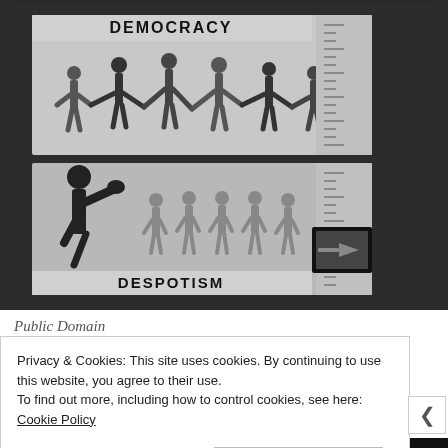[Figure (photo): Black and white photograph of an educational exhibit or panel comparing Democracy and Despotism. Top panel labeled 'DEMOCRACY' shows silhouettes of diverse people holding hands. Bottom panel labeled 'DESPOTISM' shows a large figure with raised fist facing smaller submissive figures. A ruler/scale runs along the right side. A small rectangular inset image appears at center-right of the lower panel.]
Public Domain
Privacy & Cookies: This site uses cookies. By continuing to use this website, you agree to their use.
To find out more, including how to control cookies, see here: Cookie Policy
Close and accept